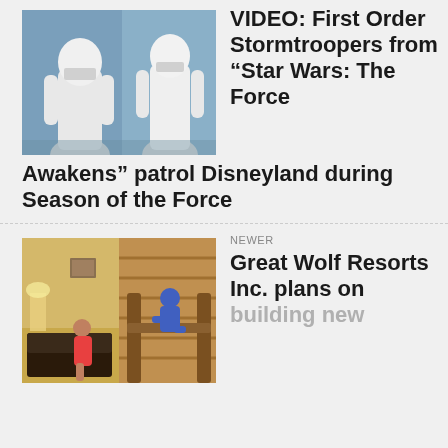[Figure (photo): Two First Order Stormtroopers in white armor at Disneyland]
VIDEO: First Order Stormtroopers from “Star Wars: The Force Awakens” patrol Disneyland during Season of the Force
[Figure (photo): Hotel room with woman sitting on bed and child climbing wooden bunk beds at Great Wolf Resorts]
NEWER
Great Wolf Resorts Inc. plans on building new hotels